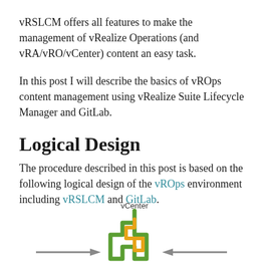vRSLCM offers all features to make the management of vRealize Operations (and vRA/vRO/vCenter) content an easy task.
In this post I will describe the basics of vROps content management using vRealize Suite Lifecycle Manager and GitLab.
Logical Design
The procedure described in this post is based on the following logical design of the vROps environment including vRSLCM and GitLab.
[Figure (schematic): Partial diagram showing vCenter logo with a staircase-shaped icon in green and orange, with arrows pointing left and right, representing the logical design of vROps environment with vRSLCM and GitLab.]